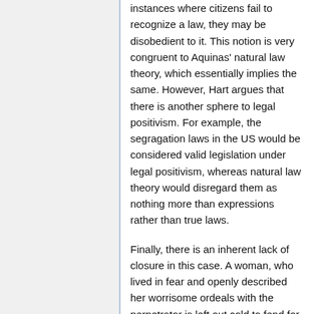instances where citizens fail to recognize a law, they may be disobedient to it. This notion is very congruent to Aquinas' natural law theory, which essentially implies the same. However, Hart argues that there is another sphere to legal positivism. For example, the segragation laws in the US would be considered valid legislation under legal positivism, whereas natural law theory would disregard them as nothing more than expressions rather than true laws.
Finally, there is an inherent lack of closure in this case. A woman, who lived in fear and openly described her worrisome ordeals with the perpetrator is left out cold to fend for herself. The likelihood of an attack was reasonably foreseeable due to the perpetrator's history of violence (Hall, pg 604). According to the next the climed